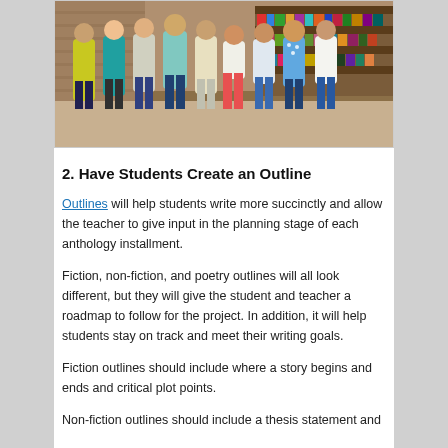[Figure (photo): Group of students standing in a library/classroom setting]
2. Have Students Create an Outline
Outlines will help students write more succinctly and allow the teacher to give input in the planning stage of each anthology installment.
Fiction, non-fiction, and poetry outlines will all look different, but they will give the student and teacher a roadmap to follow for the project. In addition, it will help students stay on track and meet their writing goals.
Fiction outlines should include where a story begins and ends and critical plot points.
Non-fiction outlines should include a thesis statement and